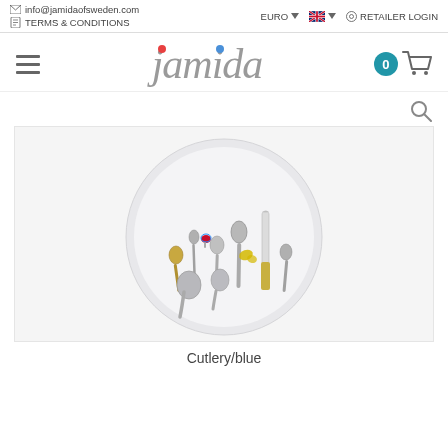info@jamidaofsweden.com | TERMS & CONDITIONS | EURO | RETAILER LOGIN
[Figure (logo): Jamida of Sweden logo with red and blue dots above the letters j and i]
[Figure (photo): A round white serving tray with illustrated cutlery items: spoons of various sizes, a knife with yellow handle, and decorative elements including a butterfly and colorful ball]
Cutlery/blue